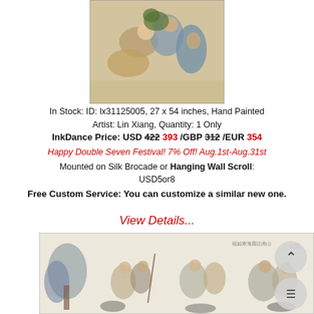[Figure (photo): Chinese ink painting showing figures in traditional robes, cropped view of people gathered together]
In Stock: ID: lx31125005, 27 x 54 inches, Hand Painted Artist: Lin Xiang, Quantity: 1 Only
InkDance Price: USD 422 393 /GBP 312 /EUR 354
Happy Double Seven Festival! 7% Off! Aug.1st-Aug.31st
Mounted on Silk Brocade or Hanging Wall Scroll: USD5or8
Free Custom Service: You can customize a similar new one.
View Details...
[Figure (photo): Chinese ink painting showing eight immortals or scholars in a landscape with trees and mountains, wide horizontal format]